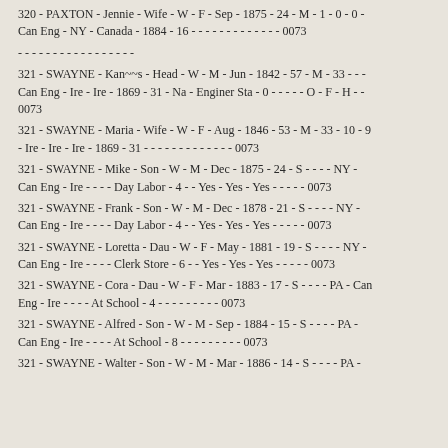320 - PAXTON - Jennie - Wife - W - F - Sep - 1875 - 24 - M - 1 - 0 - 0 - Can Eng - NY - Canada - 1884 - 16 - - - - - - - - - - - - - 0073
- - - - - - - - - - - - - - - - -
321 - SWAYNE - Kan~~s - Head - W - M - Jun - 1842 - 57 - M - 33 - - - Can Eng - Ire - Ire - 1869 - 31 - Na - Enginer Sta - 0 - - - - - O - F - H - - 0073
321 - SWAYNE - Maria - Wife - W - F - Aug - 1846 - 53 - M - 33 - 10 - 9 - Ire - Ire - Ire - 1869 - 31 - - - - - - - - - - - - - 0073
321 - SWAYNE - Mike - Son - W - M - Dec - 1875 - 24 - S - - - - NY - Can Eng - Ire - - - - Day Labor - 4 - - Yes - Yes - Yes - - - - - 0073
321 - SWAYNE - Frank - Son - W - M - Dec - 1878 - 21 - S - - - - NY - Can Eng - Ire - - - - Day Labor - 4 - - Yes - Yes - Yes - - - - - 0073
321 - SWAYNE - Loretta - Dau - W - F - May - 1881 - 19 - S - - - - NY - Can Eng - Ire - - - - Clerk Store - 6 - - Yes - Yes - Yes - - - - - 0073
321 - SWAYNE - Cora - Dau - W - F - Mar - 1883 - 17 - S - - - - PA - Can Eng - Ire - - - - At School - 4 - - - - - - - - - 0073
321 - SWAYNE - Alfred - Son - W - M - Sep - 1884 - 15 - S - - - - PA - Can Eng - Ire - - - - At School - 8 - - - - - - - - - 0073
321 - SWAYNE - Walter - Son - W - M - Mar - 1886 - 14 - S - - - - PA -